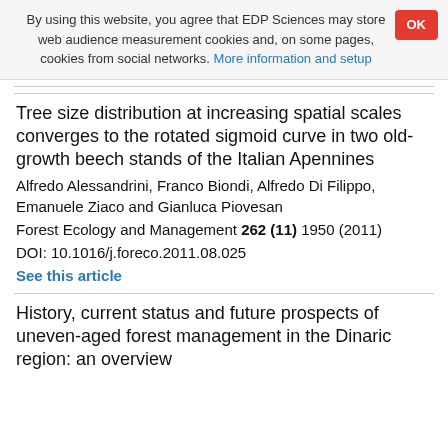By using this website, you agree that EDP Sciences may store web audience measurement cookies and, on some pages, cookies from social networks. More information and setup
Tree size distribution at increasing spatial scales converges to the rotated sigmoid curve in two old-growth beech stands of the Italian Apennines
Alfredo Alessandrini, Franco Biondi, Alfredo Di Filippo, Emanuele Ziaco and Gianluca Piovesan
Forest Ecology and Management 262 (11) 1950 (2011)
DOI: 10.1016/j.foreco.2011.08.025
See this article
History, current status and future prospects of uneven-aged forest management in the Dinaric region: an overview